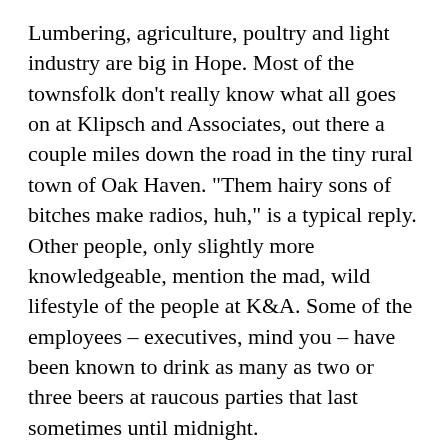Lumbering, agriculture, poultry and light industry are big in Hope. Most of the townsfolk don't really know what all goes on at Klipsch and Associates, out there a couple miles down the road in the tiny rural town of Oak Haven. "Them hairy sons of bitches make radios, huh," is a typical reply. Other people, only slightly more knowledgeable, mention the mad, wild lifestyle of the people at K&A. Some of the employees – executives, mind you – have been known to drink as many as two or three beers at raucous parties that last sometimes until midnight.
The 40-odd employees at K&A can well afford to snub their noses at conventions here in Hope. The average income for an individual wage earner in the county is $4200. The lowest paid